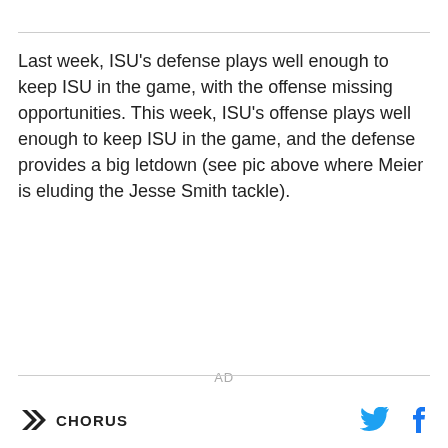Last week, ISU's defense plays well enough to keep ISU in the game, with the offense missing opportunities. This week, ISU's offense plays well enough to keep ISU in the game, and the defense provides a big letdown (see pic above where Meier is eluding the Jesse Smith tackle).
AD
CHORUS